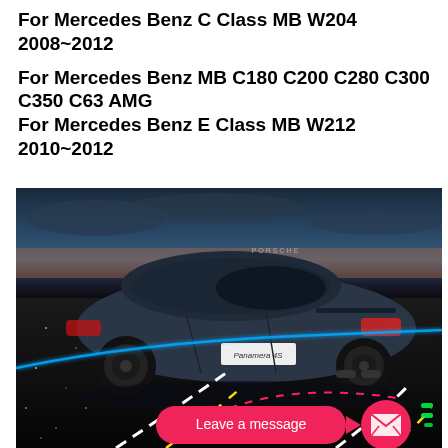For Mercedes Benz C Class MB W204 2008~2012
For Mercedes Benz MB C180 C200 C280 C300 C350 C63 AMG
For Mercedes Benz E Class MB W212 2010~2012
[Figure (photo): A dark blue/grey car (Porsche Panamera) viewed from the rear-left angle, driving on a dark road at night. The road shows colorful illuminated lane-assist lines (white, yellow, red dashed, blue, green). A pink 'Leave a message' button with envelope icon overlays the bottom portion of the image.]